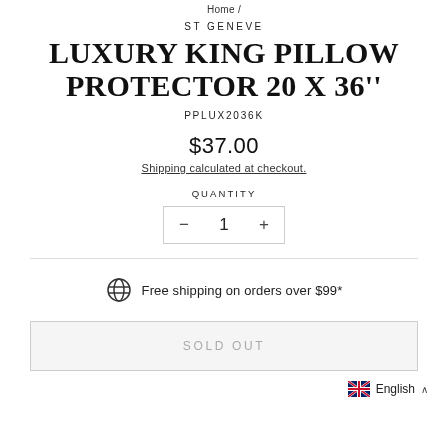Home /
ST GENEVE
LUXURY KING PILLOW PROTECTOR 20 X 36''
PPLUX2036K
$37.00
Shipping calculated at checkout.
QUANTITY
- 1 +
Free shipping on orders over $99*
SOLD OUT
English